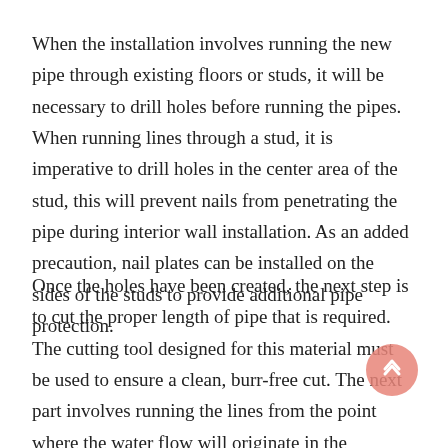When the installation involves running the new pipe through existing floors or studs, it will be necessary to drill holes before running the pipes. When running lines through a stud, it is imperative to drill holes in the center area of the stud, this will prevent nails from penetrating the pipe during interior wall installation. As an added precaution, nail plates can be installed on the sides of the studs to provide additional pipe protection.
Once the holes have been created, the next step is to cut the proper length of pipe that is required. The cutting tool designed for this material must be used to ensure a clean, burr-free cut. The next part involves running the lines from the point where the water flow will originate in the collector that is installed in the house.